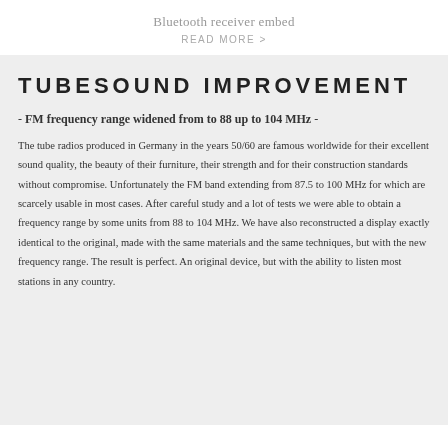Bluetooth receiver embed
READ MORE >
TUBESOUND IMPROVEMENT
- FM frequency range widened from to 88 up to 104 MHz -
The tube radios produced in Germany in the years 50/60 are famous worldwide for their excellent sound quality, the beauty of their furniture, their strength and for their construction standards without compromise. Unfortunately the FM band extending from 87.5 to 100 MHz for which are scarcely usable in most cases. After careful study and a lot of tests we were able to obtain a frequency range by some units from 88 to 104 MHz. We have also reconstructed a display exactly identical to the original, made with the same materials and the same techniques, but with the new frequency range. The result is perfect. An original device, but with the ability to listen most stations in any country.